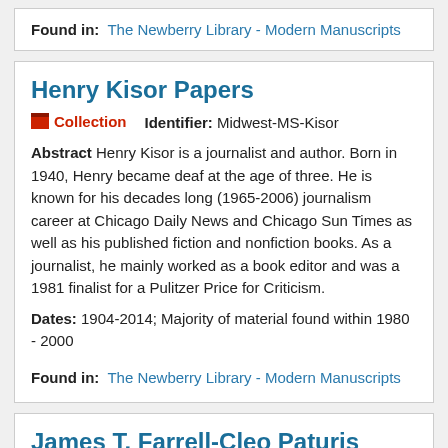Found in: The Newberry Library - Modern Manuscripts
Henry Kisor Papers
Collection   Identifier: Midwest-MS-Kisor
Abstract Henry Kisor is a journalist and author. Born in 1940, Henry became deaf at the age of three. He is known for his decades long (1965-2006) journalism career at Chicago Daily News and Chicago Sun Times as well as his published fiction and nonfiction books. As a journalist, he mainly worked as a book editor and was a 1981 finalist for a Pulitzer Price for Criticism.
Dates: 1904-2014; Majority of material found within 1980 - 2000
Found in: The Newberry Library - Modern Manuscripts
James T. Farrell-Cleo Paturis Papers
Collection